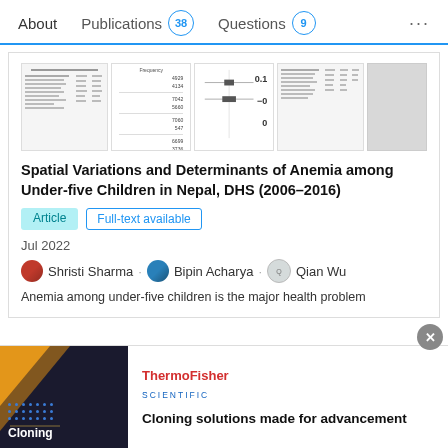About  Publications 38  Questions 9  ...
[Figure (screenshot): Thumbnail preview of a research paper showing tables and a forest plot chart]
Spatial Variations and Determinants of Anemia among Under-five Children in Nepal, DHS (2006–2016)
Article  Full-text available
Jul 2022
Shristi Sharma · Bipin Acharya · Qian Wu
Anemia among under-five children is the major health problem
[Figure (advertisement): ThermoFisher Scientific advertisement banner: Cloning solutions made for advancement, with dark background image showing cloning text]